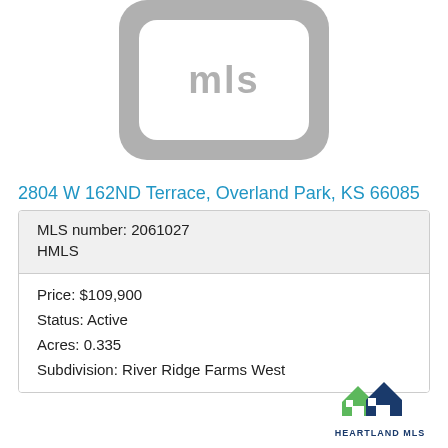[Figure (logo): MLS placeholder logo — grey rounded rectangle with white inner rounded rectangle and grey MLS text]
2804 W 162ND Terrace, Overland Park, KS 66085
| MLS number: 2061027 |
| HMLS |
| Price: $109,900 |
| Status: Active |
| Acres: 0.335 |
| Subdivision: River Ridge Farms West |
[Figure (logo): Heartland MLS logo — two overlapping house triangles in green and dark blue with HEARTLAND MLS text below]